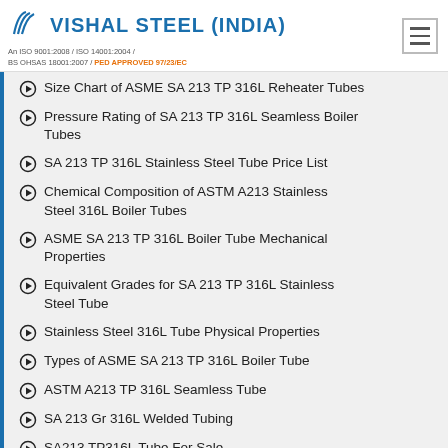VISHAL STEEL (INDIA) — An ISO 9001:2008 / ISO 14001:2004 / BS OHSAS 18001:2007 / PED APPROVED 97/23/EC
Size Chart of ASME SA 213 TP 316L Reheater Tubes
Pressure Rating of SA 213 TP 316L Seamless Boiler Tubes
SA 213 TP 316L Stainless Steel Tube Price List
Chemical Composition of ASTM A213 Stainless Steel 316L Boiler Tubes
ASME SA 213 TP 316L Boiler Tube Mechanical Properties
Equivalent Grades for SA 213 TP 316L Stainless Steel Tube
Stainless Steel 316L Tube Physical Properties
Types of ASME SA 213 TP 316L Boiler Tube
ASTM A213 TP 316L Seamless Tube
SA 213 Gr 316L Welded Tubing
SA213 TP316L Tube For Sale